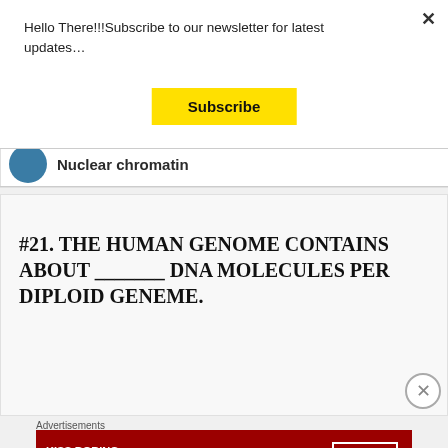Hello There!!!Subscribe to our newsletter for latest updates…
Subscribe
Nuclear chromatin
#21. The human genome contains about _______ DNA molecules per diploid geneme.
Advertisements
[Figure (photo): Macy's advertisement banner: KISS BORING LIPS GOODBYE with SHOP NOW button and Macys star logo]